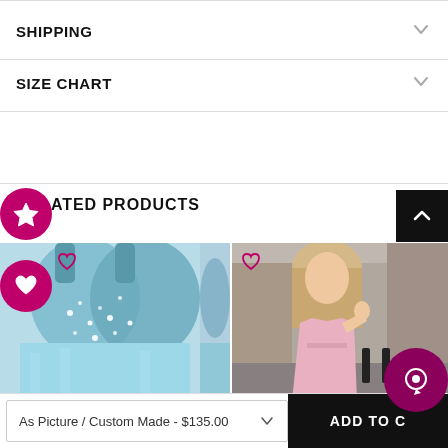SHIPPING
SIZE CHART
RELATED PRODUCTS
[Figure (photo): Product photo of beaded blue/teal prom dress on mannequin]
[Figure (photo): Photo of blonde woman wearing pink satin short dress outdoors]
As Picture / Custom Made - $135.00
ADD TO C